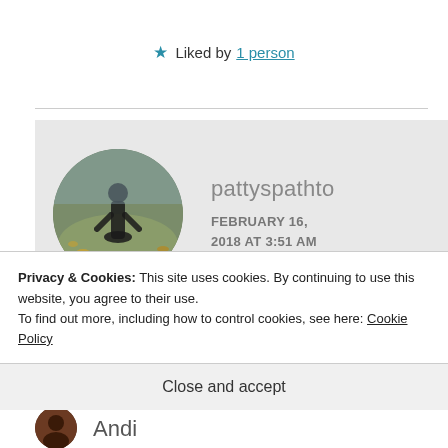★ Liked by 1 person
[Figure (photo): Round avatar photo showing a shadow of a person on grass with autumn leaves, outdoor setting]
pattyspathto
FEBRUARY 16, 2018 AT 3:51 AM
My therapist tells me to do ice under my eye. It's not painful enough. And. i see
Privacy & Cookies: This site uses cookies. By continuing to use this website, you agree to their use.
To find out more, including how to control cookies, see here: Cookie Policy
Close and accept
Andi